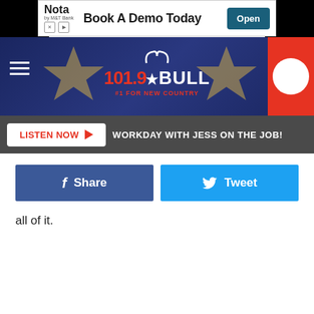[Figure (screenshot): Advertisement banner: Nota by M&T Bank - Book A Demo Today with Open button]
[Figure (logo): 101.9 The Bull radio station header banner with stars, hamburger menu, logo, and red play button]
LISTEN NOW  WORKDAY WITH JESS ON THE JOB!
Share
Tweet
all of it.